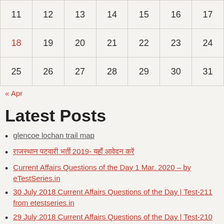|  |  |  |  |  |  |  |
| --- | --- | --- | --- | --- | --- | --- |
| 11 | 12 | 13 | 14 | 15 | 16 | 17 |
| 18 | 19 | 20 | 21 | 22 | 23 | 24 |
| 25 | 26 | 27 | 28 | 29 | 30 | 31 |
« Apr
Latest Posts
glencoe lochan trail map
राजस्थान पटवारी भर्ती 2019- यहाँ आवेदन करें
Current Affairs Questions of the Day 1 Mar. 2020 – by eTestSeries.in
30 July 2018 Current Affairs Questions of the Day | Test-211 from etestseries.in
29 July 2018 Current Affairs Questions of the Day | Test-210 from etestseries.in